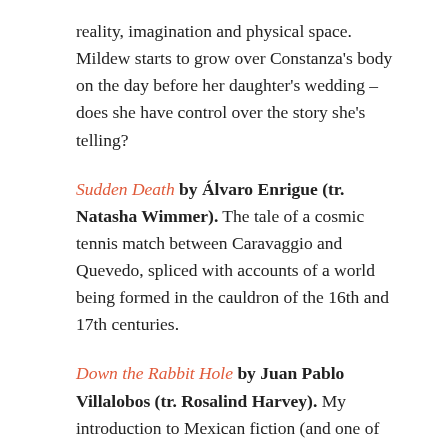reality, imagination and physical space. Mildew starts to grow over Constanza's body on the day before her daughter's wedding – does she have control over the story she's telling?
Sudden Death by Álvaro Enrigue (tr. Natasha Wimmer). The tale of a cosmic tennis match between Caravaggio and Quevedo, spliced with accounts of a world being formed in the cauldron of the 16th and 17th centuries.
Down the Rabbit Hole by Juan Pablo Villalobos (tr. Rosalind Harvey). My introduction to Mexican fiction (and one of the key books introducing me to contemporary translated fiction in general). A drug baron's son gets his wish to travel to Liberia for a pet hippo – and his perspective transforms what we